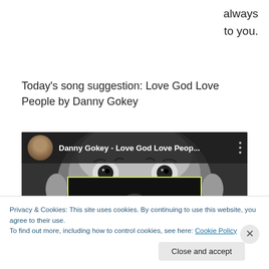always
to you.
Today's song suggestion: Love God Love People by Danny Gokey
[Figure (screenshot): YouTube video embed showing Danny Gokey - Love God Love Peop... with a black and white baby face background and a play button overlay with 'LOVE GOD, LOVE PEOPLE' text in yellow-green on a dark video thumbnail.]
Privacy & Cookies: This site uses cookies. By continuing to use this website, you agree to their use.
To find out more, including how to control cookies, see here: Cookie Policy
Close and accept